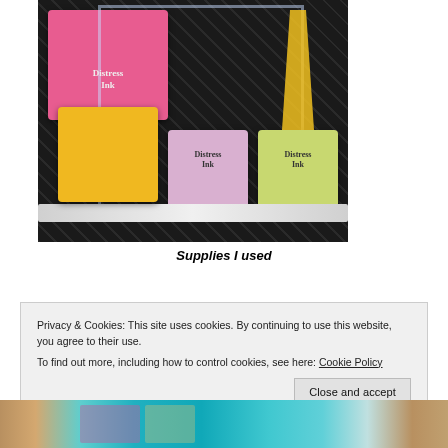[Figure (photo): Overhead photo of craft supplies on a dark cutting mat: multiple Distress Ink pads (pink/magenta, yellow/golden, purple/lavender, green), yellow-handled scissors, an acrylic block/frame, a white marker or pen, and a white tag/label with floral design.]
Supplies I used
Privacy & Cookies: This site uses cookies. By continuing to use this website, you agree to their use.
To find out more, including how to control cookies, see here: Cookie Policy
[Figure (photo): Partial view of a colorful craft/art project strip at the bottom of the page, showing teal, turquoise, and brown/cork colors.]